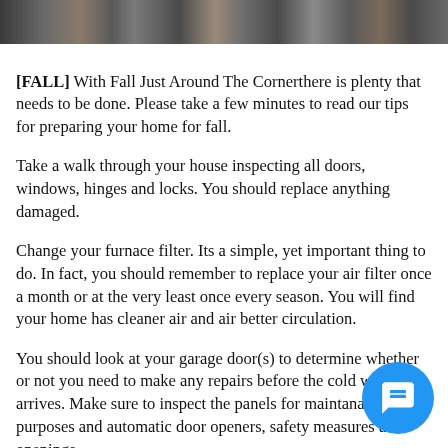[Figure (photo): A horizontal strip of photos showing people, likely a header image collage at the top of the page.]
[FALL] With Fall Just Around The Cornerthere is plenty that needs to be done. Please take a few minutes to read our tips for preparing your home for fall.
Take a walk through your house inspecting all doors, windows, hinges and locks. You should replace anything damaged.
Change your furnace filter. Its a simple, yet important thing to do. In fact, you should remember to replace your air filter once a month or at the very least once every season. You will find your home has cleaner air and air better circulation.
You should look at your garage door(s) to determine whether or not you need to make any repairs before the cold weather arrives. Make sure to inspect the panels for maintanance purposes and automatic door openers, safety measures and openings.
When it comes to dusting be sure to let gravity help, such as dusting the picture frames & plants first, followed by the tables and chairs then baseboards and trim. Always vacuum last as dust settles to the floor.
If you found it cold in your home last year, perhaps a check into getting more installation in the attic or ca the exteriors of the window frames to prevent drafts. Make sure to check your Furnace; turn your furnace on and make sure its working before the cold weather arrives.